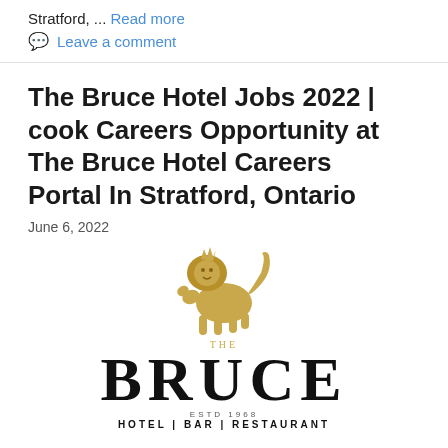Stratford, ... Read more
Leave a comment
The Bruce Hotel Jobs 2022 | cook Careers Opportunity at The Bruce Hotel Careers Portal In Stratford, Ontario
June 6, 2022
[Figure (logo): The Bruce Hotel logo featuring a golden heraldic lion above large serif text reading 'THE BRUCE' with 'ESTD 1968' and 'HOTEL | BAR | RESTAURANT' below]